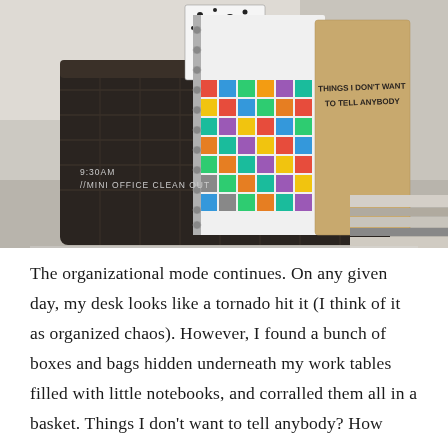[Figure (photo): A dark wicker basket on a desk surface filled with notebooks and journals. Notable items include a colorful grid-patterned notebook and a tan/kraft notebook labeled 'THINGS I DON'T WANT TO TELL ANYBODY'. Text overlay on image reads '9:30AM //MINI OFFICE CLEAN OUT'.]
The organizational mode continues. On any given day, my desk looks like a tornado hit it (I think of it as organized chaos). However, I found a bunch of boxes and bags hidden underneath my work tables filled with little notebooks, and corralled them all in a basket. Things I don't want to tell anybody? How many damn notebooks I have. It's borderline embarrassing.